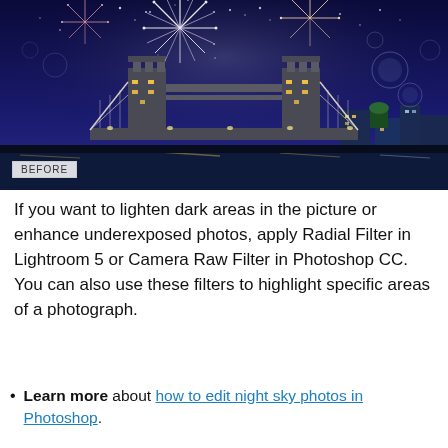[Figure (photo): Tower Bridge in London at night with fireworks exploding in the sky above. The bridge is illuminated with golden lights reflected in the river Thames. A 'BEFORE' label is shown in the lower-left corner of the image.]
If you want to lighten dark areas in the picture or enhance underexposed photos, apply Radial Filter in Lightroom 5 or Camera Raw Filter in Photoshop CC. You can also use these filters to highlight specific areas of a photograph.
Learn more about how to edit night sky photos in Photoshop.